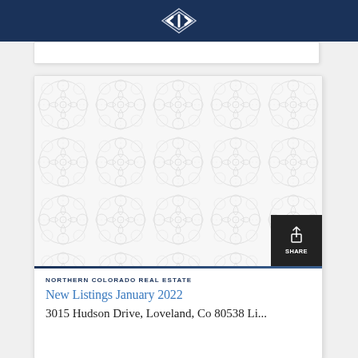Northern Colorado Real Estate (logo/brand header)
[Figure (illustration): Decorative tile/arabesque pattern placeholder image for property listing, light gray on white background. Share button overlay in bottom-right corner.]
NORTHERN COLORADO REAL ESTATE
New Listings January 2022
3015 Hudson Drive, Loveland, Co 80538 Li...